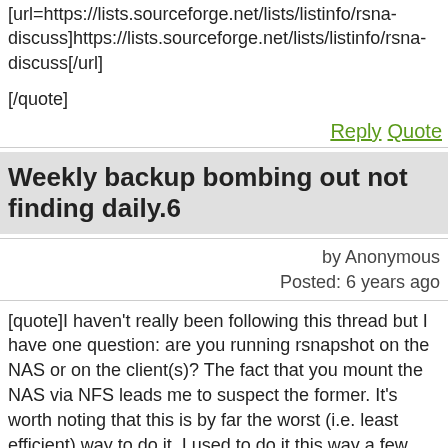[url=https://lists.sourceforge.net/lists/listinfo/rsna-discuss]https://lists.sourceforge.net/lists/listinfo/rsna-discuss[/url]
[/quote]
Reply  Quote
Weekly backup bombing out not finding daily.6
by Anonymous
Posted: 6 years ago
[quote]I haven&#39;t really been following this thread but I have one question: are you running rsnapshot on the NAS or on the client(s)? The fact that you mount the NAS via NFS leads me to suspect the former. It&#39;s worth noting that this is by far the worst (i.e. least efficient) way to do it. I used to do it this way a few years ago because it seemed so natural, but in fact rsnapshot works